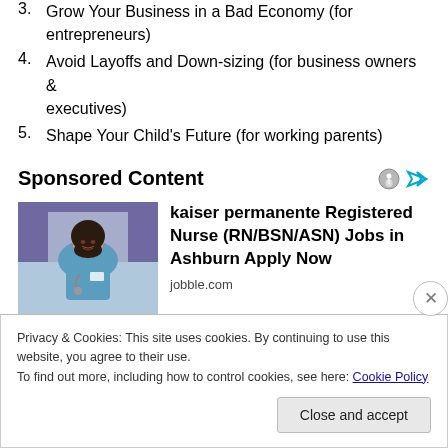3. Grow Your Business in a Bad Economy (for entrepreneurs)
4. Avoid Layoffs and Down-sizing (for business owners & executives)
5. Shape Your Child's Future (for working parents)
Sponsored Content
[Figure (photo): Photo of a smiling woman in blue nursing scrubs with a stethoscope]
kaiser permanente Registered Nurse (RN/BSN/ASN) Jobs in Ashburn Apply Now
jobble.com
Privacy & Cookies: This site uses cookies. By continuing to use this website, you agree to their use.
To find out more, including how to control cookies, see here: Cookie Policy
Close and accept